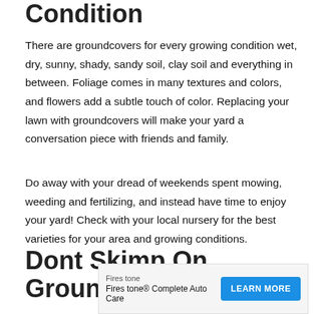Condition
There are groundcovers for every growing condition wet, dry, sunny, shady, sandy soil, clay soil and everything in between. Foliage comes in many textures and colors, and flowers add a subtle touch of color. Replacing your lawn with groundcovers will make your yard a conversation piece with friends and family.
Do away with your dread of weekends spent mowing, weeding and fertilizing, and instead have time to enjoy your yard! Check with your local nursery for the best varieties for your area and growing conditions.
Dont Skimp On Ground Cover
[Figure (other): Advertisement banner for Firestone Complete Auto Care with a blue 'LEARN MORE' button and ad control icons (X and play button).]